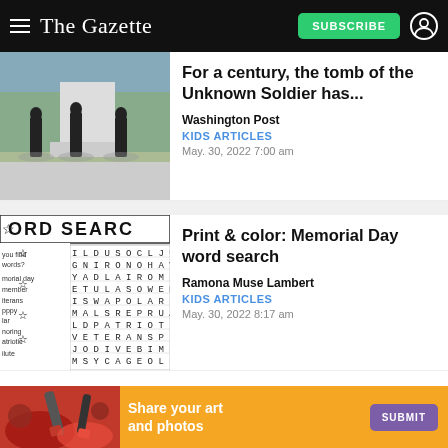The Gazette — SUBSCRIBE
[Figure (photo): Guards standing at the Tomb of the Unknown Soldier monument outdoors]
For a century, the tomb of the Unknown Soldier has...
Washington Post
KIDS ARTICLES
May. 30, 2022 7:00 am
[Figure (photo): Word search puzzle with Memorial Day themed words]
Print & color: Memorial Day word search
Ramona Muse Lambert
KIDS ARTICLES
May. 30, 2022 8:17 am
[Figure (infographic): Advertisement banner: Share your art and photos — SUBMIT button]